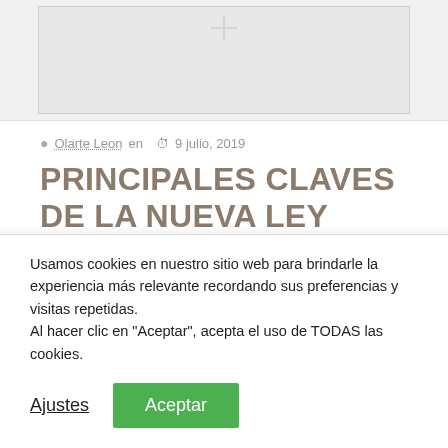[Figure (photo): Partially visible image at the top of the page, light gray placeholder]
Olarte Leon en  9 julio, 2019
PRINCIPALES CLAVES DE LA NUEVA LEY HIPOTECARIA.
Gerardo Parejo Fernández. Abogado Asociado. La nueva
Usamos cookies en nuestro sitio web para brindarle la experiencia más relevante recordando sus preferencias y visitas repetidas.
Al hacer clic en "Aceptar", acepta el uso de TODAS las cookies.
Ajustes
Aceptar